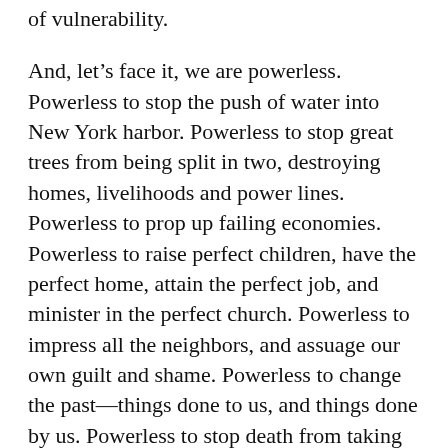of vulnerability.
And, let’s face it, we are powerless. Powerless to stop the push of water into New York harbor. Powerless to stop great trees from being split in two, destroying homes, livelihoods and power lines. Powerless to prop up failing economies. Powerless to raise perfect children, have the perfect home, attain the perfect job, and minister in the perfect church. Powerless to impress all the neighbors, and assuage our own guilt and shame. Powerless to change the past—things done to us, and things done by us. Powerless to stop death from taking us or our loved ones to the grave.
And boy does that tick us off.
Nothing makes us angrier than being powerless. Nothing makes us want to point the finger of blame like being found out to be powerless. Nothing makes us sink